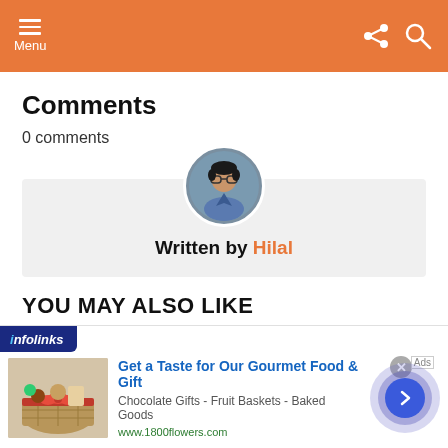Menu
Comments
0 comments
[Figure (illustration): Author card with circular profile photo of Hilal and text 'Written by Hilal']
YOU MAY ALSO LIKE
[Figure (screenshot): Infolinks advertisement for 1800flowers.com: Get a Taste for Our Gourmet Food & Gift. Chocolate Gifts - Fruit Baskets - Baked Goods. www.1800flowers.com. Shows a gift basket image on the left.]